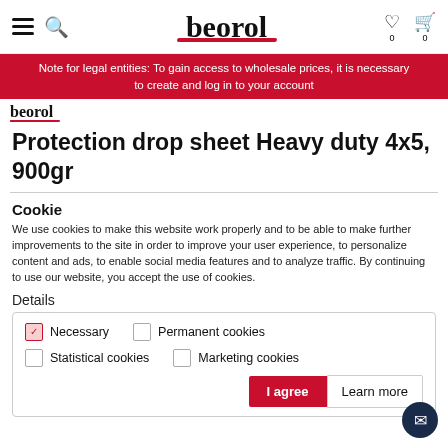beorol — navigation header with hamburger, search, logo, wishlist, cart
Note for legal entities: To gain access to wholesale prices, it is necessary to create and log in to your account
Protection drop sheet Heavy duty 4x5, 900gr
Cookie
We use cookies to make this website work properly and to be able to make further improvements to the site in order to improve your user experience, to personalize content and ads, to enable social media features and to analyze traffic. By continuing to use our website, you accept the use of cookies.
Details
Necessary | Permanent cookies | Statistical cookies | Marketing cookies | I agree | Learn more